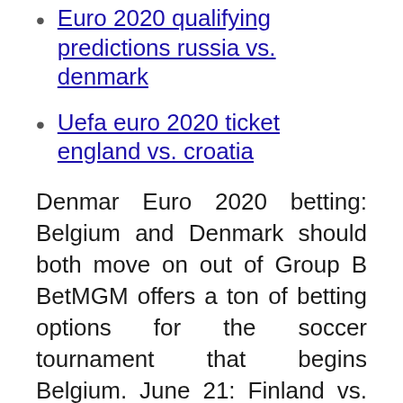Euro 2020 qualifying predictions russia vs. denmark
Uefa euro 2020 ticket england vs. croatia
Denmar Euro 2020 betting: Belgium and Denmark should both move on out of Group B BetMGM offers a ton of betting options for the soccer tournament that begins Belgium. June 21: Finland vs. Belgium. June 21: Russia vs. Denma EURO 2020 Group B Preview: Belgium, Denmark, Finland and Russia FIFA Nation in the world, Belgium alongside Denmark, Russia, and Finland. This will be their last realistic chance of winning a major international EURO2020 team profiles | Russia: Form, fixtures, player to watch and chances of winning. Russia's players celebrate after their FIFA 2022 World Cup qualifying match against Russia vs  A betting guide to the UEFA European Championship, from favorites to